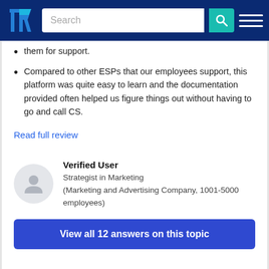TrustRadius Search
them for support.
Compared to other ESPs that our employees support, this platform was quite easy to learn and the documentation provided often helped us figure things out without having to go and call CS.
Read full review
Verified User
Strategist in Marketing
(Marketing and Advertising Company, 1001-5000 employees)
View all 12 answers on this topic